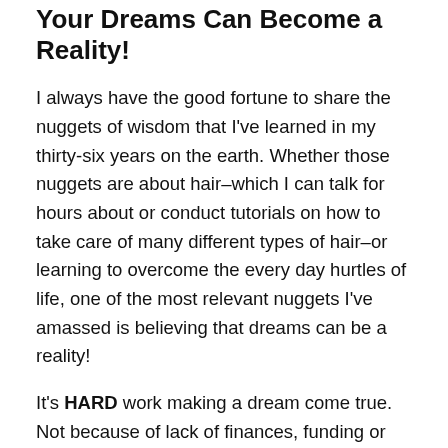Your Dreams Can Become a Reality!
I always have the good fortune to share the nuggets of wisdom that I've learned in my thirty-six years on the earth. Whether those nuggets are about hair–which I can talk for hours about or conduct tutorials on how to take care of many different types of hair–or learning to overcome the every day hurtles of life, one of the most relevant nuggets I've amassed is believing that dreams can be a reality!
It's HARD work making a dream come true. Not because of lack of finances, funding or even a decent business plan. No. The real battle isn't fought on paper, at the bank or even with a sponsor. The real battle is fought inside you–specifically, inside your mind. It doesn't matter if you have the perfect plan for your dream, without believing